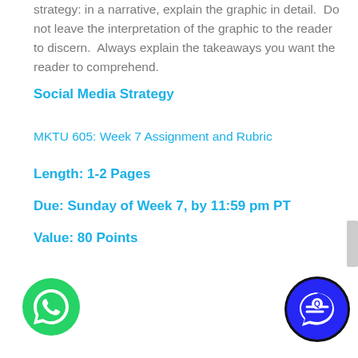strategy: in a narrative, explain the graphic in detail.  Do not leave the interpretation of the graphic to the reader to discern.  Always explain the takeaways you want the reader to comprehend.
Social Media Strategy
MKTU 605: Week 7 Assignment and Rubric
Length: 1-2 Pages
Due: Sunday of Week 7, by 11:59 pm PT
Value: 80 Points
[Figure (illustration): Green WhatsApp icon button in bottom left corner]
[Figure (illustration): Blue chat/message icon button in bottom right corner]